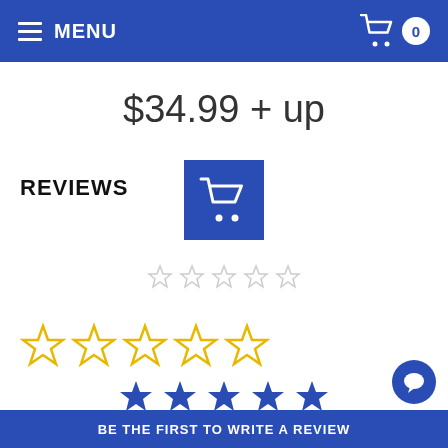MENU
$34.99 + up
REVIEWS
[Figure (screenshot): Shopping cart icon button (blue square with white cart icon)]
[Figure (other): Five grey empty star rating icons]
[Figure (other): Five yellow outline star rating icons]
[Figure (other): Five blue filled star rating icons]
BE THE FIRST TO WRITE A REVIEW